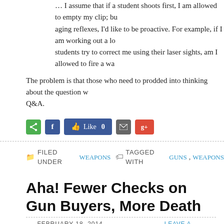… I assume that if a student shoots first, I am allowed to empty my clip; but aging reflexes, I'd like to be proactive. For example, if I am working out a lo… students try to correct me using their laser sights, am I allowed to fire a war…
The problem is that those who need to prodded into thinking about the question w… Q&A.
[Figure (infographic): Social sharing buttons: share (green), Facebook (blue), Like 0 (blue Facebook button with thumbs up), email (grey), Google+ (red)]
FILED UNDER WEAPONS  TAGGED WITH GUNS, WEAPONS
Aha! Fewer Checks on Gun Buyers, More Death…
FEBRUARY 18, 2014 BY WKIRKLAND  LEAVE A COMMENT
The 2007 repeal of a Missouri law that required background checks and licenses… be associated with a significant increase in murders there, a new study finds.
What the study found
The law's repeal was correlated with a 23 percent spike in firearm homicide rates… annually from 2008 to 2012, according to the study conducted by researchers wi… Policy and Research and to be published in the Journal of Urban Health.